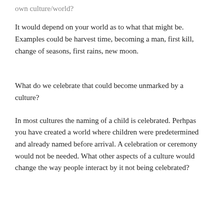own culture/world?
It would depend on your world as to what that might be. Examples could be harvest time, becoming a man, first kill, change of seasons, first rains, new moon.
What do we celebrate that could become unmarked by a culture?
In most cultures the naming of a child is celebrated. Perhpas you have created a world where children were predetermined and already named before arrival. A celebration or ceremony would not be needed. What other aspects of a culture would change the way people interact by it not being celebrated?